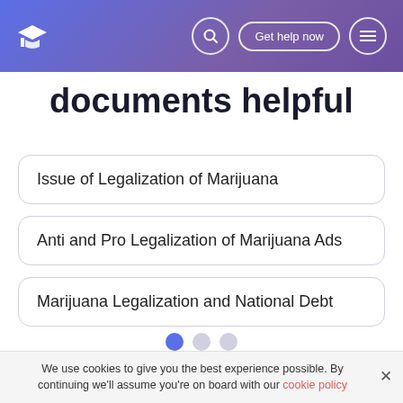Get help now
documents helpful
Issue of Legalization of Marijuana
Anti and Pro Legalization of Marijuana Ads
Marijuana Legalization and National Debt
We use cookies to give you the best experience possible. By continuing we'll assume you're on board with our cookie policy